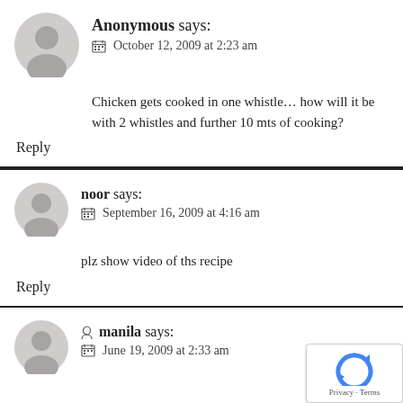Anonymous says: October 12, 2009 at 2:23 am
Chicken gets cooked in one whistle… how will it be with 2 whistles and further 10 mts of cooking?
Reply
noor says: September 16, 2009 at 4:16 am
plz show video of ths recipe
Reply
manila says: June 19, 2009 at 2:33 am